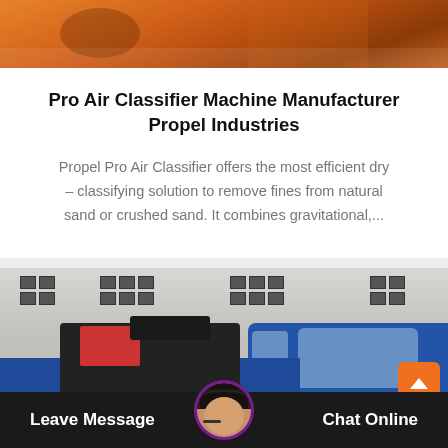[Figure (photo): Top portion of an industrial/machinery image with orange equipment visible]
Pro Air Classifier Machine Manufacturer Propel Industries
Propel Pro Air Classifier offers the most efficient dry – classifying solution to remove fines from natural sand or crushed sand. It combines gravitational,...
[Figure (photo): Blue industrial truck (ROWO branded) parked in front of a building with multiple windows; chat interface overlay at bottom with Leave Message and Chat Online buttons, and a customer service avatar in the center]
Leave Message   Chat Online